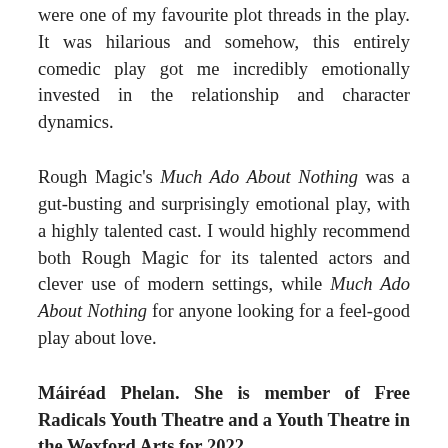were one of my favourite plot threads in the play. It was hilarious and somehow, this entirely comedic play got me incredibly emotionally invested in the relationship and character dynamics.
Rough Magic's Much Ado About Nothing was a gut-busting and surprisingly emotional play, with a highly talented cast. I would highly recommend both Rough Magic for its talented actors and clever use of modern settings, while Much Ado About Nothing for anyone looking for a feel-good play about love.
Máiréad Phelan. She is member of Free Radicals Youth Theatre and a Youth Theatre in the Wexford Arts for 2022.